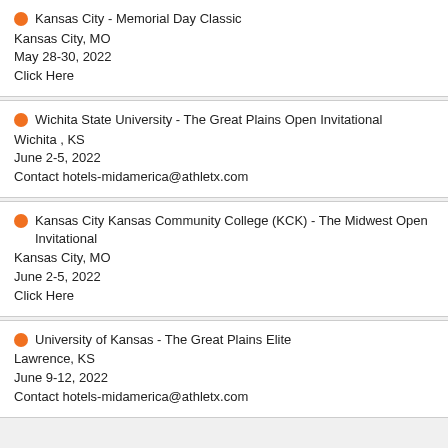Kansas City - Memorial Day Classic
Kansas City, MO
May 28-30, 2022
Click Here
Wichita State University - The Great Plains Open Invitational
Wichita , KS
June 2-5, 2022
Contact hotels-midamerica@athletx.com
Kansas City Kansas Community College (KCK) - The Midwest Open Invitational
Kansas City, MO
June 2-5, 2022
Click Here
University of Kansas - The Great Plains Elite
Lawrence, KS
June 9-12, 2022
Contact hotels-midamerica@athletx.com